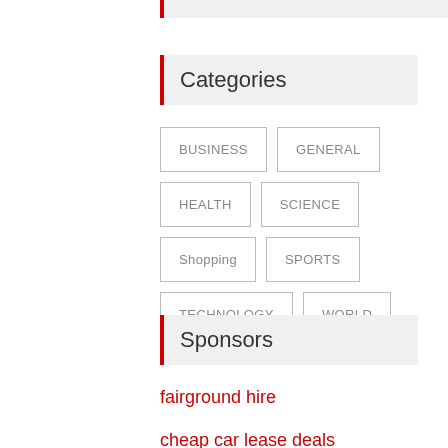Categories
BUSINESS
GENERAL
HEALTH
SCIENCE
Shopping
SPORTS
TECHNOLOGY
WORLD
Sponsors
fairground hire
cheap car lease deals